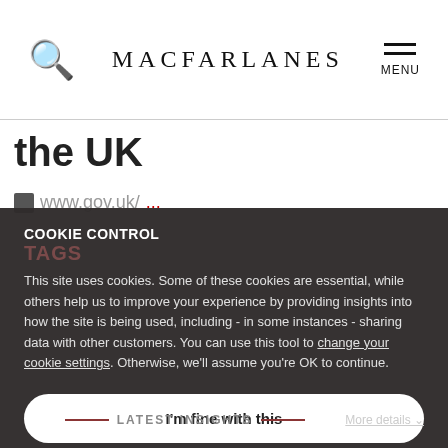MACFARLANES
the UK
www.gov.uk/...
COOKIE CONTROL
TAGS
This site uses cookies. Some of these cookies are essential, while others help us to improve your experience by providing insights into how the site is being used, including - in some instances - sharing data with other customers. You can use this tool to change your cookie settings. Otherwise, we'll assume you're OK to continue.
I'm fine with this
LATEST INSIGHTS
More details